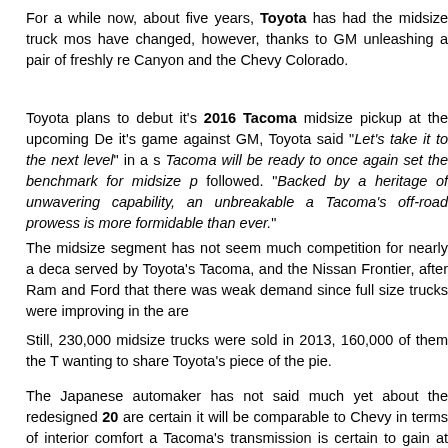For a while now, about five years, Toyota has had the midsize truck most to have changed, however, thanks to GM unleashing a pair of freshly re Canyon and the Chevy Colorado.
Toyota plans to debut it's 2016 Tacoma midsize pickup at the upcoming De it's game against GM, Toyota said "Let's take it to the next level" in a s Tacoma will be ready to once again set the benchmark for midsize p followed. "Backed by a heritage of unwavering capability, an unbreakable a Tacoma's off-road prowess is more formidable than ever."
The midsize segment has not seem much competition for nearly a deca served by Toyota's Tacoma, and the Nissan Frontier, after Ram and Ford that there was weak demand since full size trucks were improving in the are
Still, 230,000 midsize trucks were sold in 2013, 160,000 of them the T wanting to share Toyota's piece of the pie.
The Japanese automaker has not said much yet about the redesigned 20 are certain it will be comparable to Chevy in terms of interior comfort a Tacoma's transmission is certain to gain at least one more gear, up from it' options. We also suspect that direct injection will be added to it's V-6 engin be a 4 cylinder. Inside, creature comforts such as heated seats, touch scr